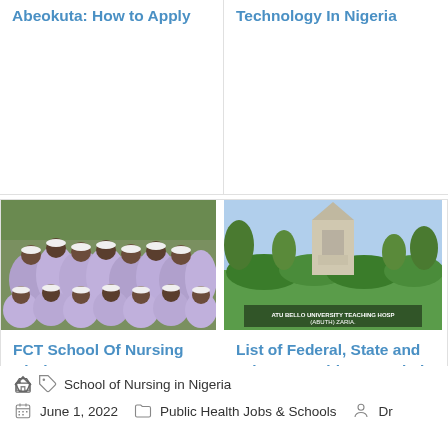Abeokuta: How to Apply
Technology In Nigeria
[Figure (photo): Group photo of nursing students in purple uniforms seated outdoors on grass]
FCT School Of Nursing Abuja
[Figure (photo): Ahmadu Bello University Teaching Hospital (ABUTH) Zaria campus exterior with garden and signage]
List of Federal, State and Private Teaching Hospitals in Nigeria
School of Nursing in Nigeria
June 1, 2022
Public Health Jobs & Schools
Dr